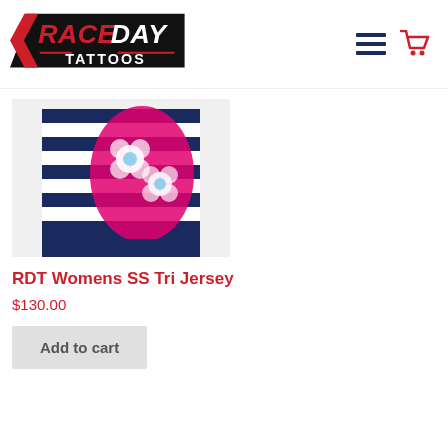Race Day Tattoos — navigation header with logo, menu icon, and cart icon
[Figure (photo): Close-up photo of an RDT Womens SS Tri Jersey with navy/white stripes and pink/white floral pattern]
RDT Womens SS Tri Jersey
$130.00
Add to cart